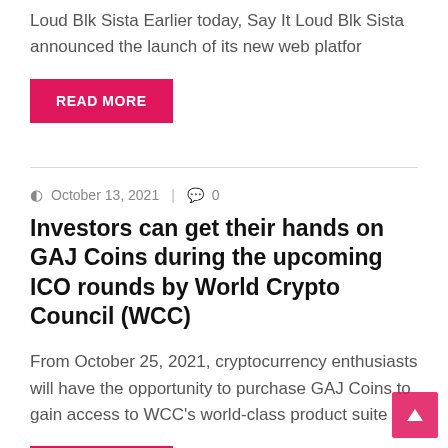Loud Blk Sista Earlier today, Say It Loud Blk Sista announced the launch of its new web platfor
READ MORE
October 13, 2021  0
Investors can get their hands on GAJ Coins during the upcoming ICO rounds by World Crypto Council (WCC)
From October 25, 2021, cryptocurrency enthusiasts will have the opportunity to purchase GAJ Coins to gain access to WCC’s world-class product suite
READ MORE
October 13, 2021  0